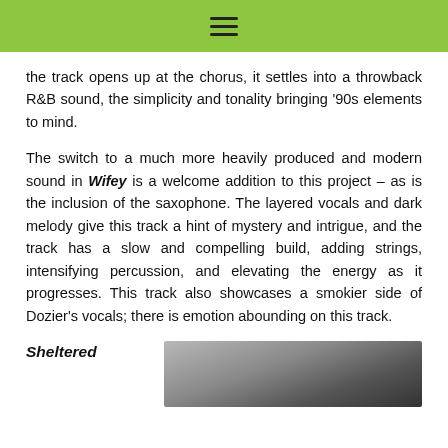≡
the track opens up at the chorus, it settles into a throwback R&B sound, the simplicity and tonality bringing '90s elements to mind.
The switch to a much more heavily produced and modern sound in Wifey is a welcome addition to this project – as is the inclusion of the saxophone. The layered vocals and dark melody give this track a hint of mystery and intrigue, and the track has a slow and compelling build, adding strings, intensifying percussion, and elevating the energy as it progresses. This track also showcases a smokier side of Dozier's vocals; there is emotion abounding on this track.
Sheltered
[Figure (photo): Close-up photo of what appears to be a dark fabric or material, partially visible on the right side of the page.]